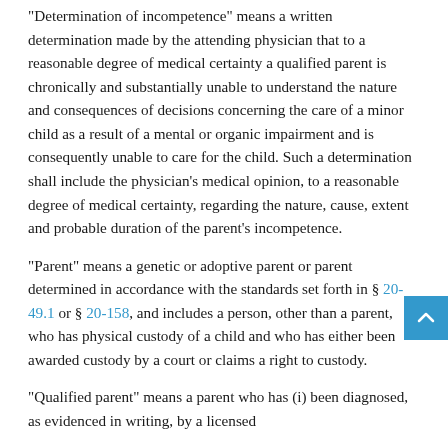"Determination of incompetence" means a written determination made by the attending physician that to a reasonable degree of medical certainty a qualified parent is chronically and substantially unable to understand the nature and consequences of decisions concerning the care of a minor child as a result of a mental or organic impairment and is consequently unable to care for the child. Such a determination shall include the physician's medical opinion, to a reasonable degree of medical certainty, regarding the nature, cause, extent and probable duration of the parent's incompetence.
"Parent" means a genetic or adoptive parent or parent determined in accordance with the standards set forth in § 20-49.1 or § 20-158, and includes a person, other than a parent, who has physical custody of a child and who has either been awarded custody by a court or claims a right to custody.
"Qualified parent" means a parent who has (i) been diagnosed, as evidenced in writing, by a licensed